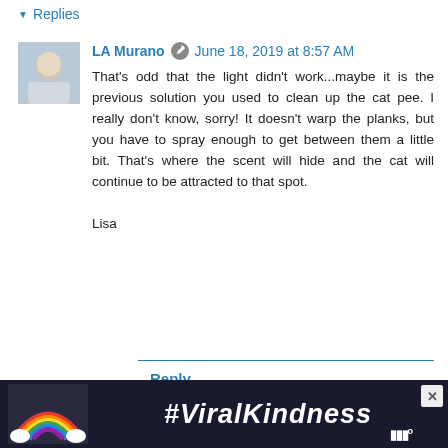Replies
LA Murano  June 18, 2019 at 8:57 AM

That's odd that the light didn't work...maybe it is the previous solution you used to clean up the cat pee. I really don't know, sorry! It doesn't warp the planks, but you have to spray enough to get between them a little bit. That's where the scent will hide and the cat will continue to be attracted to that spot.

Lisa
Reply
Julie  April 11, 2019 at 4:59 PM

Can u mix it up and put in carpet shampooer?
[Figure (other): #ViralKindness advertisement banner with rainbow illustration]